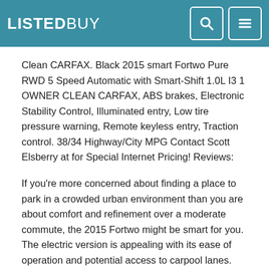LISTEDBUY
Clean CARFAX. Black 2015 smart Fortwo Pure RWD 5 Speed Automatic with Smart-Shift 1.0L I3 1 OWNER CLEAN CARFAX, ABS brakes, Electronic Stability Control, Illuminated entry, Low tire pressure warning, Remote keyless entry, Traction control. 38/34 Highway/City MPG Contact Scott Elsberry at for Special Internet Pricing! Reviews:
If you're more concerned about finding a place to park in a crowded urban environment than you are about comfort and refinement over a moderate commute, the 2015 Fortwo might be smart for you. The electric version is appealing with its ease of operation and potential access to carpool lanes.
Source: Listedbuy. com Easy to park in tight spaces; roomy seating for two people. Source: Edmunds Smarts are more than meets the eye. A special honeycomb structure and sleek side skirts secure the 2015 smart fortwo as beacon of style and utility. The grille conveys a new aggressive attitude and the redesigned rear further complements the fortwo as one mean machine. The smart, at its